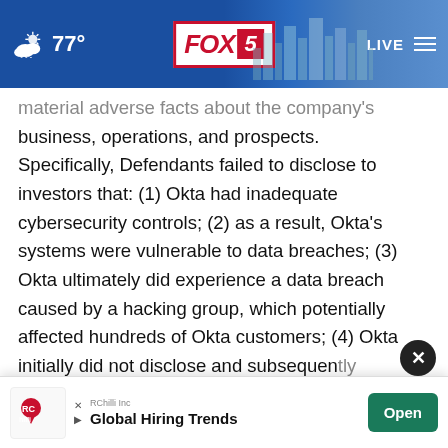FOX 5 | 77° | LIVE
material adverse facts about the company's business, operations, and prospects. Specifically, Defendants failed to disclose to investors that: (1) Okta had inadequate cybersecurity controls; (2) as a result, Okta's systems were vulnerable to data breaches; (3) Okta ultimately did experience a data breach caused by a hacking group, which potentially affected hundreds of Okta customers; (4) Okta initially did not disclose and subsequently down[played]; (5) all the foregoing, once revealed, was likely to
[Figure (screenshot): Advertisement banner: RChilli Inc - Global Hiring Trends with Open button]